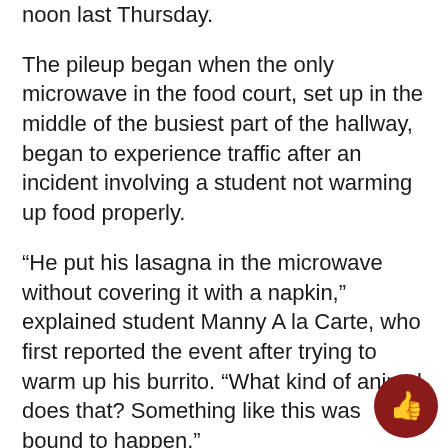noon last Thursday.
The pileup began when the only microwave in the food court, set up in the middle of the busiest part of the hallway, began to experience traffic after an incident involving a student not warming up food properly.
“He put his lasagna in the microwave without covering it with a napkin,” explained student Manny A la Carte, who first reported the event after trying to warm up his burrito. “What kind of animal does that? Something like this was bound to happen.”
While experts were called to clean up the hazard, the delay led to a line exceeding dozens of students waiting to microwave their leftovers and to heat up their ramen noodle